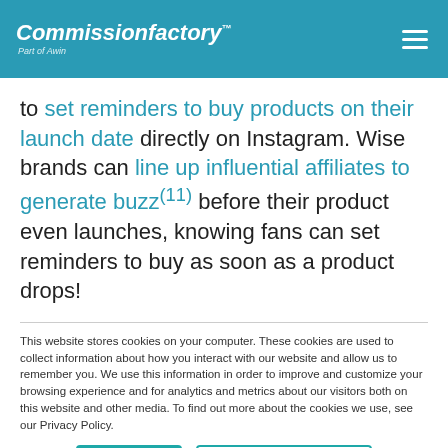Commissionfactory™ Part of Awin
to set reminders to buy products on their launch date directly on Instagram. Wise brands can line up influential affiliates to generate buzz(11) before their product even launches, knowing fans can set reminders to buy as soon as a product drops!
This website stores cookies on your computer. These cookies are used to collect information about how you interact with our website and allow us to remember you. We use this information in order to improve and customize your browsing experience and for analytics and metrics about our visitors both on this website and other media. To find out more about the cookies we use, see our Privacy Policy.
Accept | Don't ask me again